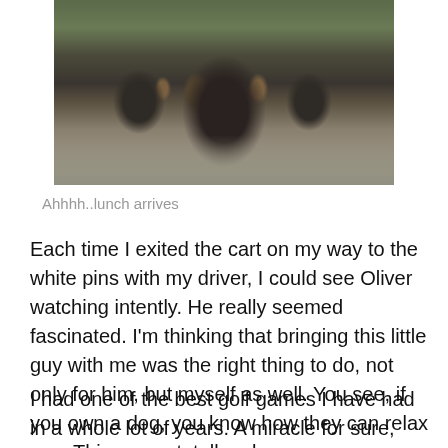[Figure (photo): A herd of bison (buffalo) walking on a road toward the camera, with calves and green vegetation in the background.]
Ahhhh..lunch arrives
Each time I exited the cart on my way to the white pins with my driver, I could see Oliver watching intently. He really seemed fascinated. I'm thinking that bringing this little guy with me was the right thing to do, not only for him, but myself as well. You see, if you own a dog, you know how they can relax you. This puppy totally relaxes me, so between every shot and I held him and talked to him, there was an effect which transferred to my clubs.
I had one of the best golf games I have had in a whole lot of years. A miracle for sure, after a few holes, my drives straightened out, increased distance by at least 70 yards,